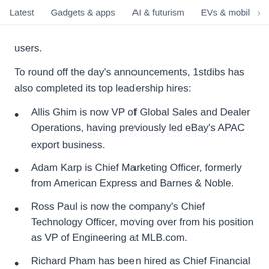Latest  Gadgets & apps  AI & futurism  EVs & mobil >
users.
To round off the day's announcements, 1stdibs has also completed its top leadership hires:
Allis Ghim is now VP of Global Sales and Dealer Operations, having previously led eBay's APAC export business.
Adam Karp is Chief Marketing Officer, formerly from American Express and Barnes & Noble.
Ross Paul is now the company's Chief Technology Officer, moving over from his position as VP of Engineering at MLB.com.
Richard Pham has been hired as Chief Financial